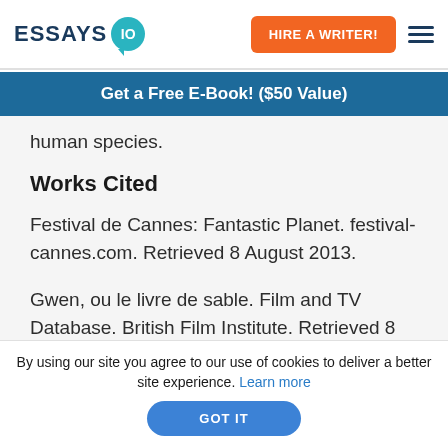[Figure (logo): Essays.io logo with teal speech bubble containing '10']
HIRE A WRITER!
Get a Free E-Book! ($50 Value)
human species.
Works Cited
Festival de Cannes: Fantastic Planet. festival-cannes.com. Retrieved 8 August 2013.
Gwen, ou le livre de sable. Film and TV Database. British Film Institute. Retrieved 8
By using our site you agree to our use of cookies to deliver a better site experience. Learn more
GOT IT